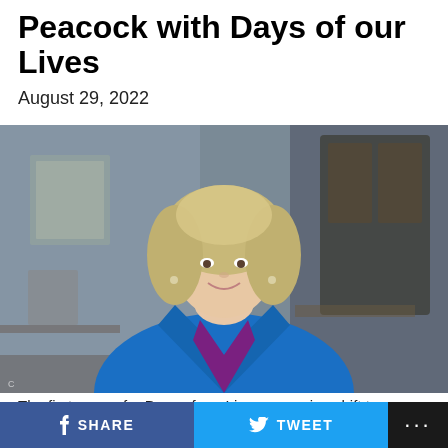Peacock with Days of our Lives
August 29, 2022
[Figure (photo): A woman with blonde hair wearing a bright blue blazer over a purple blouse, seated against a blurred interior background with bookshelves and framed art.]
The first promo for Days of our Lives upcoming shift to